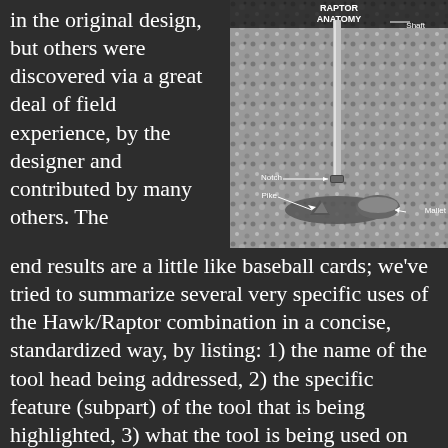in the original design, but others were discovered via a great deal of field experience, by the designer and contributed by many others. The
[Figure (photo): Raptor Anatomy diagram showing a tool head in gravel/rock medium, with labeled parts: Shaft (top right), Notch (middle left), Pike (lower left), and Mallet (lower right). The tool shaft is visible going down into rock.]
end results are a little like baseball cards; we've tried to summarize several very specific uses of the Hawk/Raptor combination in a concise, standardized way, by listing: 1) the name of the tool head being addressed, 2) the specific feature (subpart) of the tool that is being highlighted, 3) what the tool is being used on (e.g., a part of a structure), 4) a photo of the tool posed as though in use, and 5) a brief explanation. The sketch at the right provides some “anatomical” terms to aid in understanding. In this post a few videos